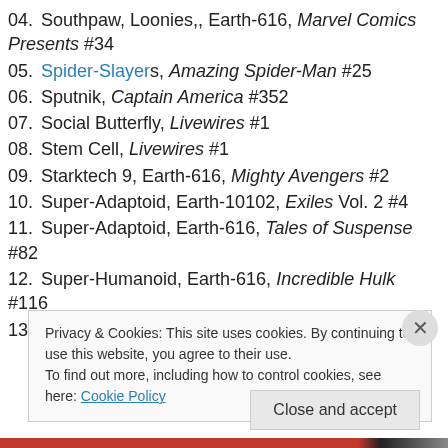04. Southpaw, Loonies,, Earth-616, Marvel Comics Presents #34
05. Spider-Slayers, Amazing Spider-Man #25
06. Sputnik, Captain America #352
07. Social Butterfly, Livewires #1
08. Stem Cell, Livewires #1
09. Starktech 9, Earth-616, Mighty Avengers #2
10. Super-Adaptoid, Earth-10102, Exiles Vol. 2 #4
11. Super-Adaptoid, Earth-616, Tales of Suspense #82
12. Super-Humanoid, Earth-616, Incredible Hulk #116
13. Supremor, Captain Marvel #46
Privacy & Cookies: This site uses cookies. By continuing to use this website, you agree to their use. To find out more, including how to control cookies, see here: Cookie Policy